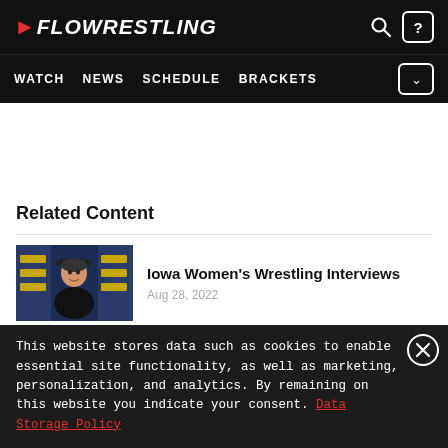FLOWRESTLING | WATCH | NEWS | SCHEDULE | BRACKETS
Related Content
[Figure (photo): Thumbnail image of Iowa Women's Wrestling interview — woman in black hat at press conference with Iowa wrestling banners in background]
Iowa Women's Wrestling Interviews
Aug 28, 2022
This website stores data such as cookies to enable essential site functionality, as well as marketing, personalization, and analytics. By remaining on this website you indicate your consent. Data Storage Policy